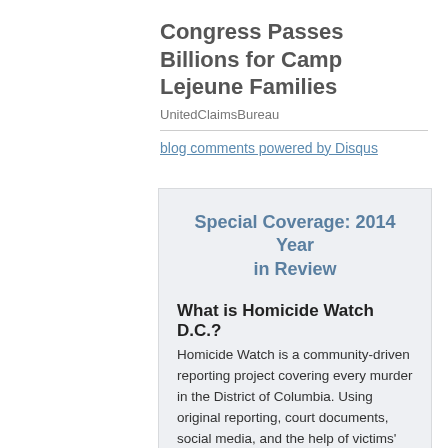Congress Passes Billions for Camp Lejeune Families
UnitedClaimsBureau
blog comments powered by Disqus
Special Coverage: 2014 Year in Review
What is Homicide Watch D.C.?
Homicide Watch is a community-driven reporting project covering every murder in the District of Columbia. Using original reporting, court documents, social media, and the help of victims' and suspects' friends, family, neighbors and others, we cover every homicide from crime to conviction.
Read more…